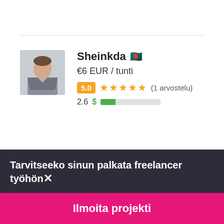[Figure (photo): Profile photo of freelancer Sheinkda - woman in business attire]
Sheinkda 🇧🇩
€6 EUR / tunti
5.0 ★★★★★ (1 arvostelu)
2.6 $ ■■□□□□□□□□
[Figure (photo): Profile photo of freelancer HireSEOExperts - partial view]
HireSEOExperts 🇮🇳
Tarvitseeko sinun palkata freelancer työhön✕
Ilmoita projekti